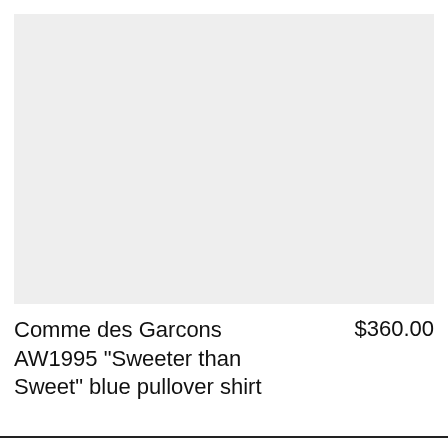[Figure (photo): Light gray rectangular placeholder image area for product photo]
Comme des Garcons AW1995 "Sweeter than Sweet" blue pullover shirt
$360.00